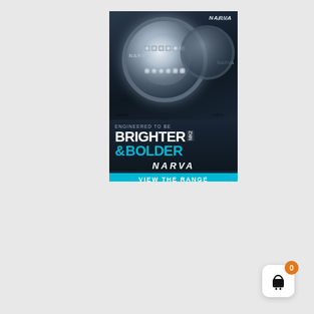[Figure (photo): NARVA LED driving light advertisement. Shows two large round LED spotlights (NARVA branded) mounted on a vehicle, with text 'ENGINEERED TO BE BRIGHTER & BOLDER MK2' and 'NARVA' brand name. Cyan 'VIEW THE RANGE' call-to-action bar at the bottom.]
[Figure (photo): Jacksons Carry Me Camper advertisement on black background. Text: 'SLIDE-ON CAMPER', 'HARD LID MODEL', Jacksons logo (red square with JR monogram), 'JACKSONS Carry Me Camper', 'www.carrymecamper.com.au']
[Figure (other): Shopping cart button with orange badge showing '0']